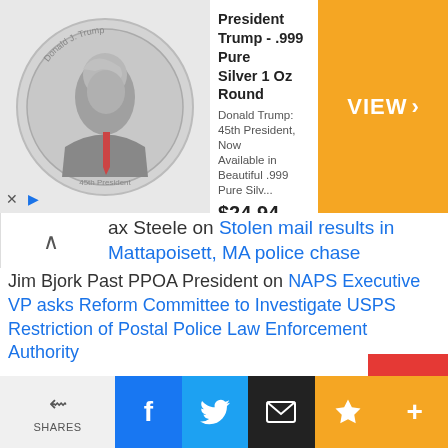[Figure (screenshot): Advertisement banner for President Trump .999 Pure Silver 1 Oz Round coin showing price $24.94 and VIEW button on orange background, from Money Metals Exchange]
ax Steele on Stolen mail results in Mattapoisett, MA police chase
Jim Bjork Past PPOA President on NAPS Executive VP asks Reform Committee to Investigate USPS Restriction of Postal Police Law Enforcement Authority
Jim Bjork Past PPOA President on Postal Police Officers Blame Mail Theft Increase on Decision to End Neighborhood Patrols
[Figure (screenshot): Social sharing bar with SHARES label and icons for Facebook, Twitter, Email, Star/Bookmark, and Plus buttons]